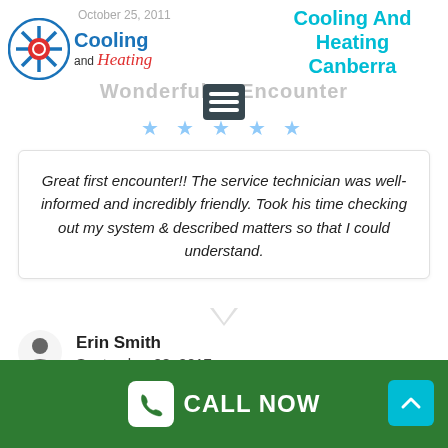[Figure (logo): Cooling and Heating company logo with snowflake and sun icon]
October 25, 2011
Cooling And Heating Canberra
Wonderful First Encounter
Great first encounter!! The service technician was well-informed and incredibly friendly. Took his time checking out my system & described matters so that I could understand.
Erin Smith
September 08, 2017
CALL NOW